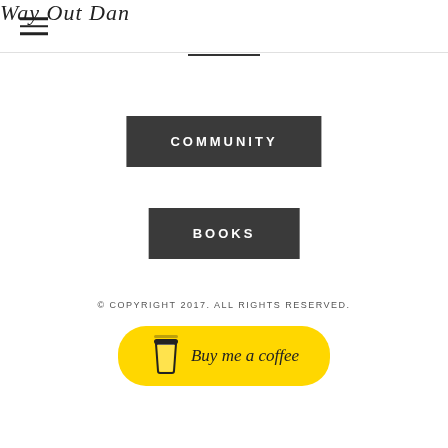Way Out Dan
COMMUNITY
BOOKS
© COPYRIGHT 2017. ALL RIGHTS RESERVED.
[Figure (other): Yellow rounded button with coffee cup icon and 'Buy me a coffee' text]